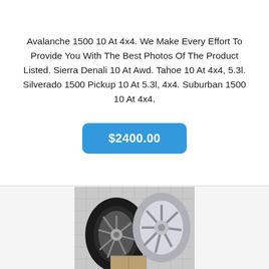Avalanche 1500 10 At 4x4. We Make Every Effort To Provide You With The Best Photos Of The Product Listed. Sierra Denali 10 At Awd. Tahoe 10 At 4x4, 5.3l. Silverado 1500 Pickup 10 At 5.3l, 4x4. Suburban 1500 10 At 4x4.
$2400.00
[Figure (photo): Photo of a tire and chrome wheel/rim leaning against a tiled wall background with a box visible at the bottom.]